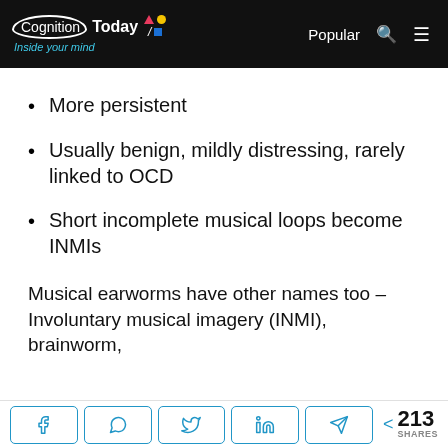Cognition Today | Inside your mind — Popular
More persistent
Usually benign, mildly distressing, rarely linked to OCD
Short incomplete musical loops become INMIs
Musical earworms have other names too – Involuntary musical imagery (INMI), brainworm,
< 213 SHARES — Share buttons: Facebook, WhatsApp, Twitter, LinkedIn, Telegram